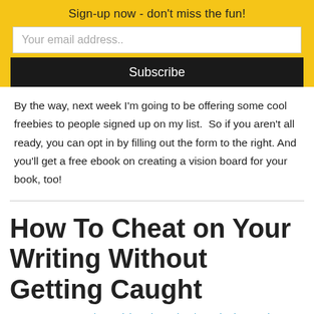Sign-up now - don't miss the fun!
Your email address..
Subscribe
By the way, next week I'm going to be offering some cool freebies to people signed up on my list.  So if you aren't all ready, you can opt in by filling out the form to the right. And you'll get a free ebook on creating a vision board for your book, too!
How To Cheat on Your Writing Without Getting Caught
Leave a Comment / Creativity, Distraction / By Charlotte Rains Dixon / 04/07/2016
Are you an adulterer when it comes to creativity?